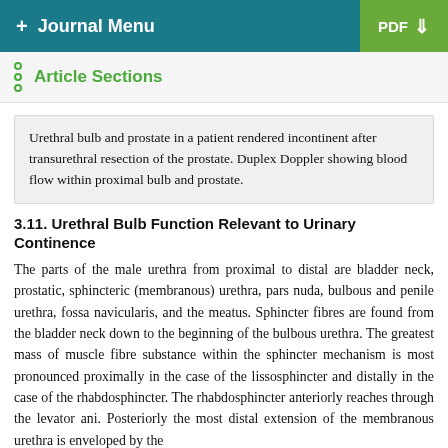+ Journal Menu  PDF ↓
Article Sections
Urethral bulb and prostate in a patient rendered incontinent after transurethral resection of the prostate. Duplex Doppler showing blood flow within proximal bulb and prostate.
3.11. Urethral Bulb Function Relevant to Urinary Continence
The parts of the male urethra from proximal to distal are bladder neck, prostatic, sphincteric (membranous) urethra, pars nuda, bulbous and penile urethra, fossa navicularis, and the meatus. Sphincter fibres are found from the bladder neck down to the beginning of the bulbous urethra. The greatest mass of muscle fibre substance within the sphincter mechanism is most pronounced proximally in the case of the lissosphincter and distally in the case of the rhabdosphincter. The rhabdosphincter anteriorly reaches through the levator ani. Posteriorly the most distal extension of the membranous urethra is enveloped by the